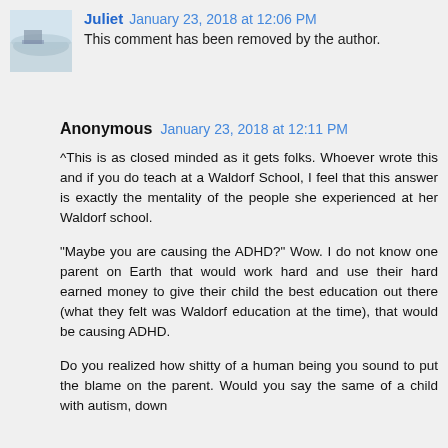[Figure (photo): Avatar photo showing a person or scene near water, used as commenter profile picture for Juliet]
Juliet  January 23, 2018 at 12:06 PM
This comment has been removed by the author.
Anonymous  January 23, 2018 at 12:11 PM
^This is as closed minded as it gets folks. Whoever wrote this and if you do teach at a Waldorf School, I feel that this answer is exactly the mentality of the people she experienced at her Waldorf school.
"Maybe you are causing the ADHD?" Wow. I do not know one parent on Earth that would work hard and use their hard earned money to give their child the best education out there (what they felt was Waldorf education at the time), that would be causing ADHD.
Do you realized how shitty of a human being you sound to put the blame on the parent. Would you say the same of a child with autism, down